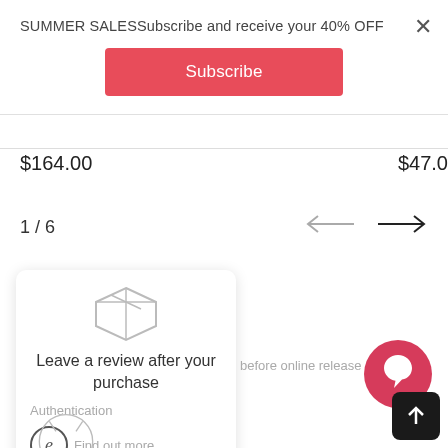SUMMER SALESSubscribe and receive your 40% OFF
Subscribe
$164.00
$47.0
1/6
Leave a review after your purchase
Authentication before online release
Find out more
[Figure (other): Red circular chat bubble icon]
[Figure (other): Scroll to top button with upward arrow]
[Figure (other): Partial alarm clock icon at bottom left]